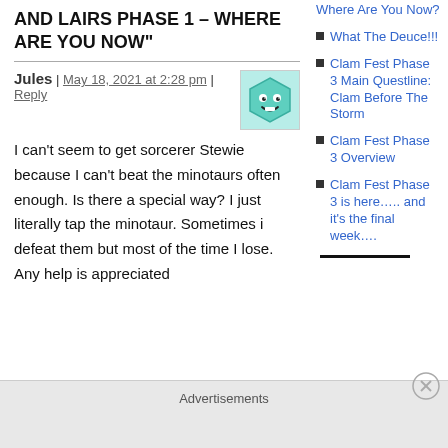AND LAIRS PHASE 1 – WHERE ARE YOU NOW"
Jules | May 18, 2021 at 2:28 pm | Reply
[Figure (illustration): Avatar image of a cartoon hexagon face with teal/green color, smiling with eyes]
I can't seem to get sorcerer Stewie because I can't beat the minotaurs often enough. Is there a special way? I just literally tap the minotaur. Sometimes i defeat them but most of the time I lose. Any help is appreciated
Where Are You Now?
What The Deuce!!!
Clam Fest Phase 3 Main Questline: Clam Before The Storm
Clam Fest Phase 3 Overview
Clam Fest Phase 3 is here….. and it's the final week….
Advertisements